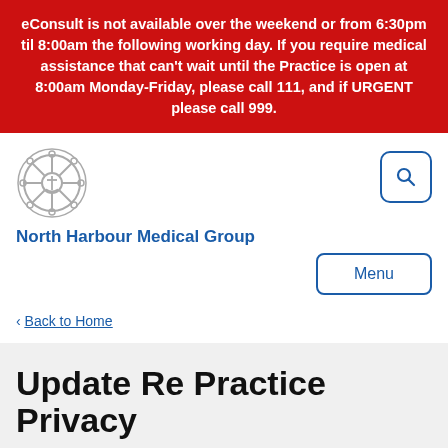eConsult is not available over the weekend or from 6:30pm til 8:00am the following working day. If you require medical assistance that can't wait until the Practice is open at 8:00am Monday-Friday, please call 111, and if URGENT please call 999.
[Figure (logo): Ship's wheel / helm logo for North Harbour Medical Group]
North Harbour Medical Group
Menu
< Back to Home
Update Re Practice Privacy